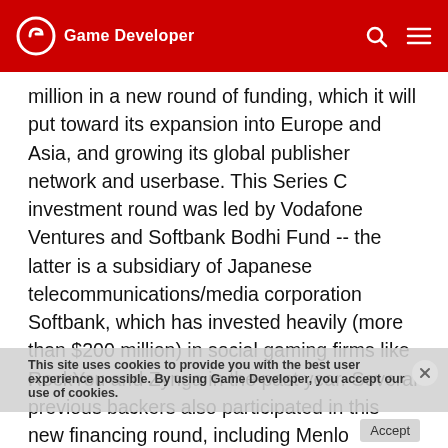Game Developer
million in a new round of funding, which it will put toward its expansion into Europe and Asia, and growing its global publisher network and userbase. This Series C investment round was led by Vodafone Ventures and Softbank Bodhi Fund -- the latter is a subsidiary of Japanese telecommunications/media corporation Softbank, which has invested heavily (more than $200 million) in social gaming firms like RockYou and Zynga in the past year. Several previous backers also participated in this new financing round, including Menlo Ventures, Novel TMT Ventures, STIC, and other undisclosed investors. To date, PlaySpan has secured a total of some $42 million in funding since the Silicon Valley-headquartered company opened in 2006. The company's monetization solutions have been implemented in more than 1,000 online games,
This site uses cookies to provide you with the best user experience possible. By using Game Developer, you accept our use of cookies.